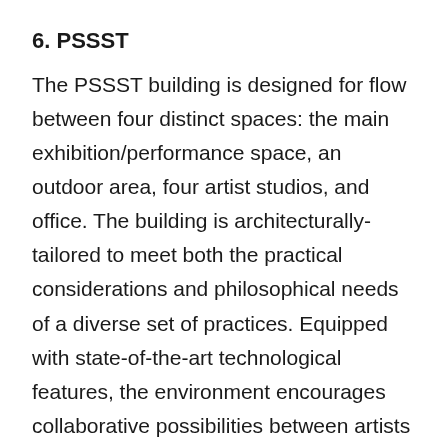6. PSSST
The PSSST building is designed for flow between four distinct spaces: the main exhibition/performance space, an outdoor area, four artist studios, and office. The building is architecturally-tailored to meet both the practical considerations and philosophical needs of a diverse set of practices. Equipped with state-of-the-art technological features, the environment encourages collaborative possibilities between artists of different backgrounds and media. The physical space promotes the blurring of conceptual boundaries and encourages fluidity and evolution in